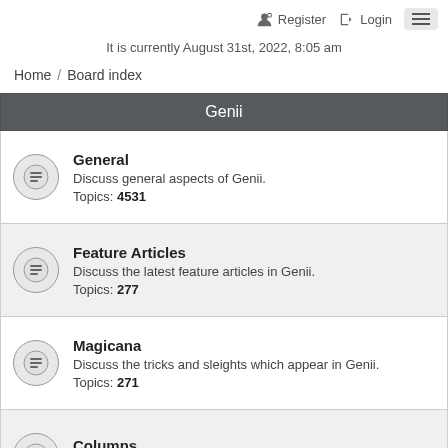Register  Login
It is currently August 31st, 2022, 8:05 am
Home / Board index
Genii
General
Discuss general aspects of Genii.
Topics: 4531
Feature Articles
Discuss the latest feature articles in Genii.
Topics: 277
Magicana
Discuss the tricks and sleights which appear in Genii.
Topics: 271
Columns
Discuss the views of your favorite Genii columnists.